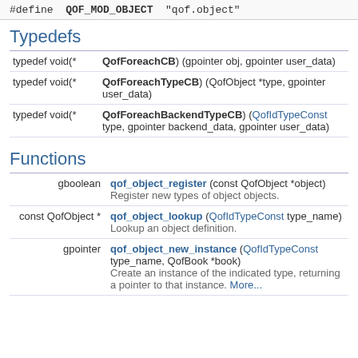#define QOF_MOD_OBJECT "qof.object"
Typedefs
| Type | Definition |
| --- | --- |
| typedef void(* | QofForeachCB) (gpointer obj, gpointer user_data) |
| typedef void(* | QofForeachTypeCB) (QofObject *type, gpointer user_data) |
| typedef void(* | QofForeachBackendTypeCB) (QofIdTypeConst type, gpointer backend_data, gpointer user_data) |
Functions
| Return | Function |
| --- | --- |
| gboolean | qof_object_register (const QofObject *object)
Register new types of object objects. |
| const QofObject * | qof_object_lookup (QofIdTypeConst type_name)
Lookup an object definition. |
| gpointer | qof_object_new_instance (QofIdTypeConst type_name, QofBook *book)
Create an instance of the indicated type, returning a pointer to that instance. More... |